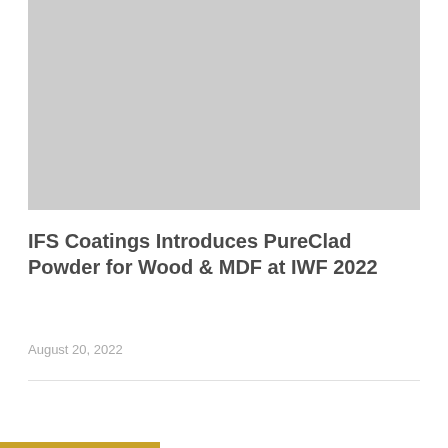[Figure (photo): Gray placeholder image representing a photo related to PureClad Powder for Wood & MDF at IWF 2022]
IFS Coatings Introduces PureClad Powder for Wood & MDF at IWF 2022
August 20, 2022